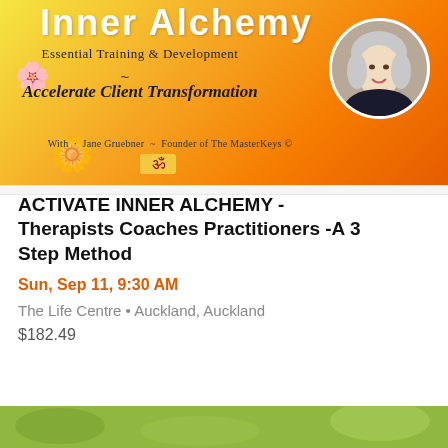[Figure (photo): Inner Alchemy Essential Training & Development banner with orange/yellow gradient background, flowers, and circular portrait of Jane Gruebner. Text reads: Inner Alchemy, Essential Training & Development, ~, Accelerate Client Transformation, With Jane Gruebner ~ Founder of The MasterKeys, Om symbol]
ACTIVATE INNER ALCHEMY - Therapists Coaches Practitioners -A 3 Step Method
Sun, Sep 11, 9:30 AM
The Life Centre • Auckland, Auckland
$182.49
[Figure (photo): Bottom partial image showing green background, beginning of another event listing]